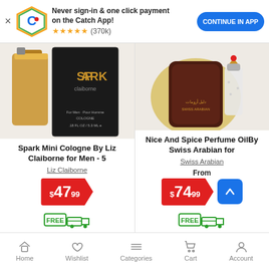[Figure (screenshot): Catch app promotional banner with logo, text, stars rating and continue button]
Never sign-in & one click payment on the Catch App!
★★★★★ (370k)
CONTINUE IN APP
[Figure (photo): Spark Mini Cologne By Liz Claiborne for Men product photo showing bottle]
Spark Mini Cologne By Liz Claiborne for Men - 5
Liz Claiborne
$47.99
FREE shipping
[Figure (photo): Nice And Spice Perfume Oil By Swiss Arabian for product photo showing bottle and pouch]
Nice And Spice Perfume OilBy Swiss Arabian for
Swiss Arabian
From
$74.99
FREE shipping
Home  Wishlist  Categories  Cart  Account